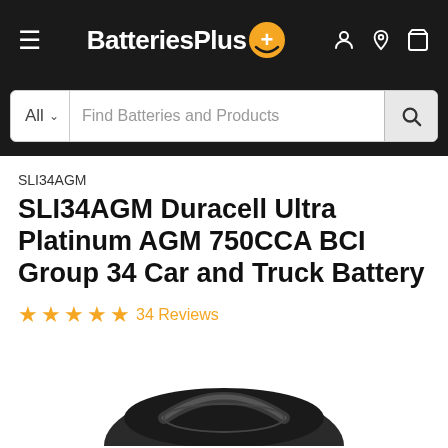[Figure (screenshot): BatteriesPlus website navigation bar with hamburger menu, logo, and icons for account, location, and cart]
[Figure (screenshot): Search bar with 'All' dropdown and 'Find Batteries and Products' placeholder text and search button]
SLI34AGM
SLI34AGM Duracell Ultra Platinum AGM 750CCA BCI Group 34 Car and Truck Battery
★★★★★ 34 Reviews
[Figure (photo): Partial top view of a car battery (Duracell Ultra Platinum AGM) showing the top handle area]